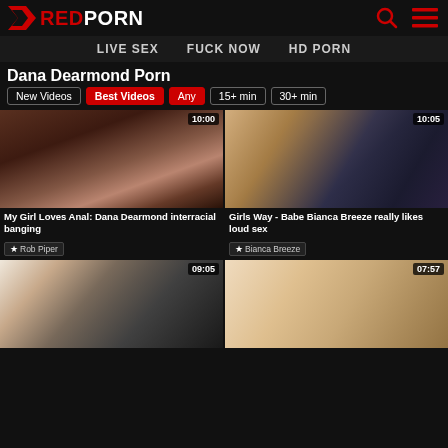REDPORN — LIVE SEX | FUCK NOW | HD PORN
Dana Dearmond Porn
New Videos | Best Videos | Any | 15+ min | 30+ min
[Figure (screenshot): Thumbnail for 'My Girl Loves Anal: Dana Dearmond interracial banging', duration 10:00, star Rob Piper]
[Figure (screenshot): Thumbnail for 'Girls Way - Babe Bianca Breeze really likes loud sex', duration 10:05, star Bianca Breeze]
[Figure (screenshot): Thumbnail for video, duration 09:05]
[Figure (screenshot): Thumbnail for video, duration 07:57]